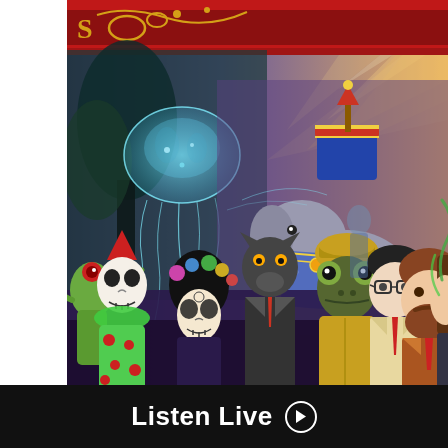[Figure (illustration): Colorful illustrated artwork showing a festive parade scene with various fantastical and costumed characters: a green alien creature, a Day of the Dead skeleton clown, a woman with skull face paint, a wolf in a suit, an anthropomorphic frog in a yellow coat, a decorated elephant with a howdah, a floating jellyfish, and several men in suits including bearded and bespectacled figures. Background features radiating sunbeams, purple and teal hues, trees, and a red ornate banner/sign across the top.]
Listen Live ▶